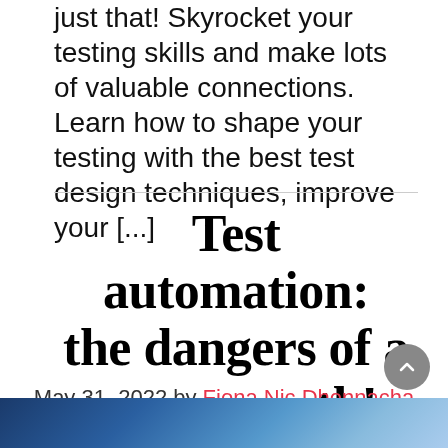just that! Skyrocket your testing skills and make lots of valuable connections. Learn how to shape your testing with the best test design techniques, improve your [...]
Test automation: the dangers of a success path!
May 31, 2022 by Fiona Nic Dhonnacha
[Figure (photo): Bottom strip showing a blue-toned technology/automation related image, partially visible at the bottom of the page.]